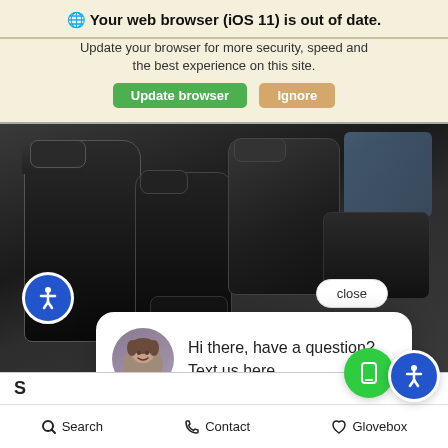🌐 Your web browser (iOS 11) is out of date.
Update your browser for more security, speed and the best experience on this site.
Update browser | Ignore
[Figure (photo): Car interior with black leather seats, center console, dashboard, and window visible on right side]
close
Hi there, have a question? Text us here.
S
Seat your friends in comfort with available Dual Zone Temperature Control and heated front seats.
Search  Contact  Glovebox